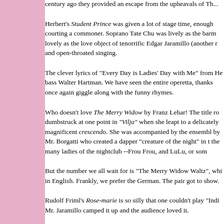century ago they provided an escape from the upheavals of Th...
Herbert's Student Prince was given a lot of stage time, enough courting a commoner. Soprano Tate Chu was lively as the barm lovely as the love object of tenorrific Edgar Jaramillo (another r and open-throated singing.
The clever lyrics of "Every Day is Ladies' Day with Me" from He bass Walter Hartman. We have seen the entire operetta, thanks once again giggle along with the funny rhymes.
Who doesn't love The Merry Widow by Franz Lehar! The title ro dumbstruck at one point in "Vilja" when she leapt to a delicately magnificent crescendo. She was accompanied by the ensembl by Mr. Borgatti who created a dapper "creature of the night" in t the many ladies of the nightclub --Frou Frou, and LuLu, or som
But the number we all wait for is "The Merry Widow Waltz", whi in English. Frankly, we prefer the German. The pair got to show.
Rudolf Friml's Rose-marie is so silly that one couldn't play "Indi Mr. Jaramillo camped it up and the audience loved it.
There was also a surprise! As a teaser for the upcoming conce sang a song from The Little Mermaid. Although we prefer Dvora...